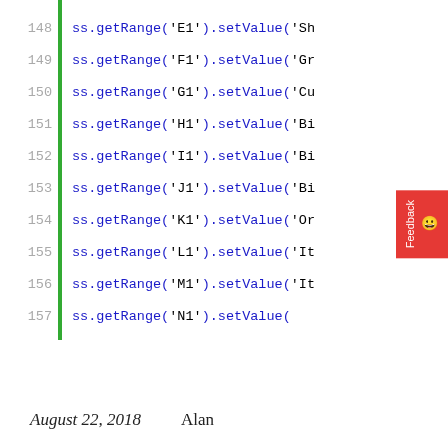Code snippet lines 148-163 showing Google Apps Script spreadsheet range setValue and setFormat calls
August 22, 2018    Alan